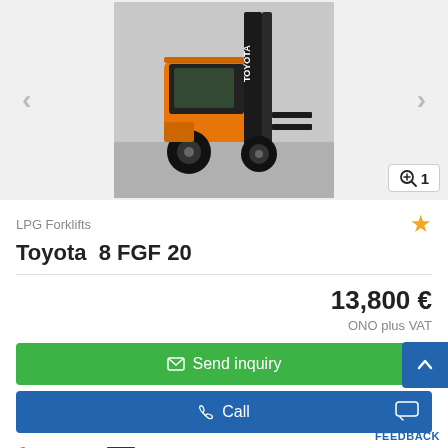[Figure (photo): Toyota forklift (orange and black LPG forklift, model 8 FGF 20) photographed from rear-left angle in a warehouse/outdoor setting. Navigation arrows on left and right sides of image. Zoom button with '1' in bottom right corner.]
LPG Forklifts
Toyota  8 FGF 20
13,800 €
ONO plus VAT
Send inquiry
Call
Günzburg
FEEDBACK